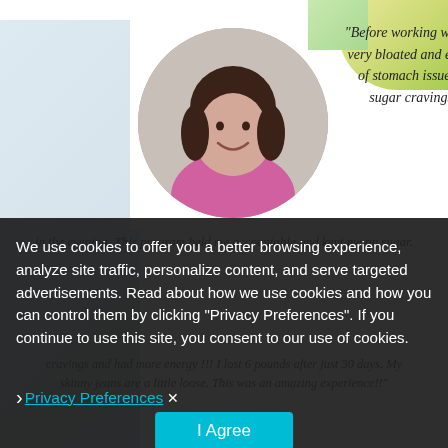[Figure (photo): Circular profile photo of a woman with dark hair wearing a pink top, smiling]
"Before working with Tiffany, I felt very bloated and experienced lots of stomach issues. I would get sugar cravings sometimes
in the evening. This program held me accountable and kept me on sugar.
We use cookies to offer you a better browsing experience, analyze site traffic, personalize content, and serve targeted advertisements. Read about how we use cookies and how you can control them by clicking "Privacy Preferences". If you continue to use this site, you consent to our use of cookies.
cravings and had more energy !!! I lost 6 pounds after just 30 days. My skinny jeans are a little loose. This was an amazing experience!!
Privacy Preferences
I Agree